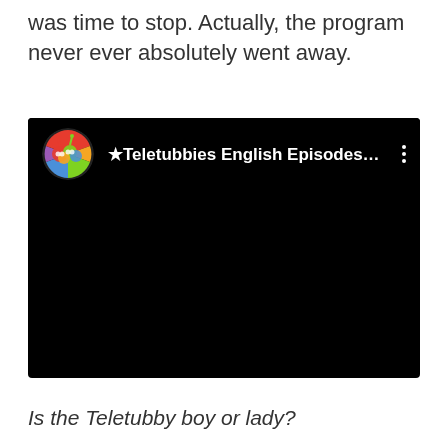was time to stop. Actually, the program never ever absolutely went away.
[Figure (screenshot): A YouTube video player showing a black screen with a Teletubbies channel avatar (colorful circular icon with Teletubbies characters) and the channel name '★Teletubbies English Episodes…' with a three-dot menu icon on the right. The video area is entirely black.]
Is the Teletubby boy or lady?